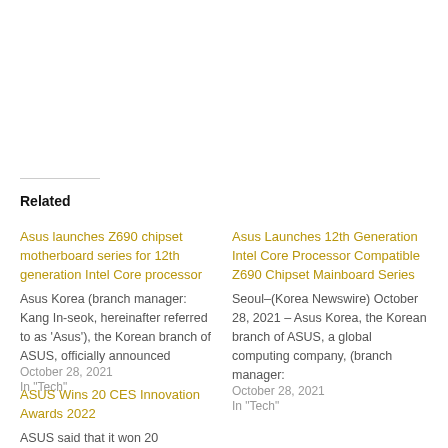Related
Asus launches Z690 chipset motherboard series for 12th generation Intel Core processor
Asus Korea (branch manager: Kang In-seok, hereinafter referred to as 'Asus'), the Korean branch of ASUS, officially announced
October 28, 2021
In "Tech"
Asus Launches 12th Generation Intel Core Processor Compatible Z690 Chipset Mainboard Series
Seoul–(Korea Newswire) October 28, 2021 – Asus Korea, the Korean branch of ASUS, a global computing company, (branch manager:
October 28, 2021
In "Tech"
ASUS Wins 20 CES Innovation Awards 2022
ASUS said that it won 20